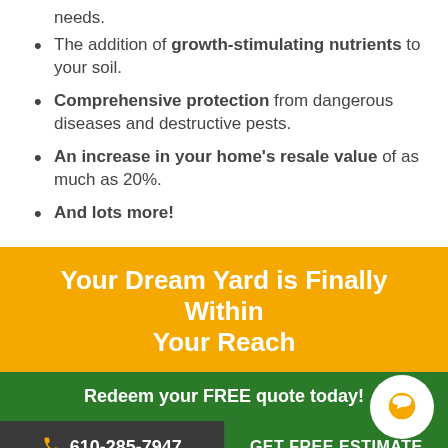needs.
The addition of growth-stimulating nutrients to your soil.
Comprehensive protection from dangerous diseases and destructive pests.
An increase in your home's resale value of as much as 20%.
And lots more!
Your Dream Yard is Finally Within Your Reach
Redeem your FREE quote today!
610-285-7947
GET FREE ESTIMATE